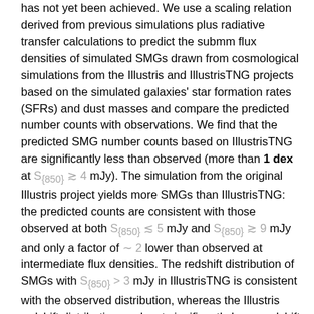has not yet been achieved. We use a scaling relation derived from previous simulations plus radiative transfer calculations to predict the submm flux densities of simulated SMGs drawn from cosmological simulations from the Illustris and IllustrisTNG projects based on the simulated galaxies' star formation rates (SFRs) and dust masses and compare the predicted number counts with observations. We find that the predicted SMG number counts based on IllustrisTNG are significantly less than observed (more than 1 dex at S_{850} \gtrsim 4 mJy). The simulation from the original Illustris project yields more SMGs than IllustrisTNG: the predicted counts are consistent with those observed at both S_{850} \lesssim 5 mJy and S_{850} \gtrsim 9 mJy and only a factor of \sim 2 lower than observed at intermediate flux densities. The redshift distribution of SMGs with S_{850} > 3 mJy in IllustrisTNG is consistent with the observed distribution, whereas the Illustris redshift distribution peaks at significantly lower redshift (1.5 vs. 2.8). We demonstrate that IllustrisTNG hosts fewer SMGs than Illustris because in the former, high-mass (M_{\star} \sim 10^{11} \, \text{M}_{\odot}) z \sim 2-3 galaxies have lower dust masses and SFRs than in Illustris owing to differences in the sub-grid models for stellar or/and active galactic nucleus (AGN) feedback between the two simulations (we unfortunately cannot isolate the specific cause(s)